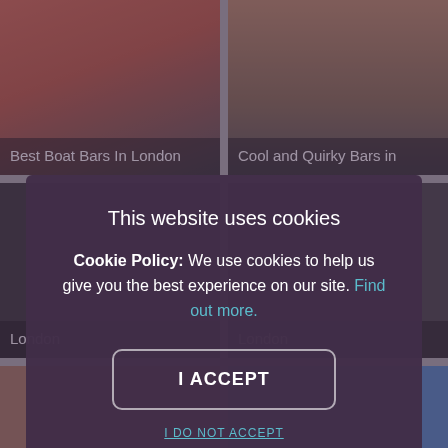[Figure (screenshot): Background grid of image cards showing London bar articles. Top-left: 'Best Boat Bars In London', top-right: 'Cool and Quirky Bars in', middle-left and middle-right: 'London' labels on dark image cards, bottom-left and bottom-right: colored image cards.]
This website uses cookies
Cookie Policy: We use cookies to help us give you the best experience on our site. Find out more.
I ACCEPT
I DO NOT ACCEPT